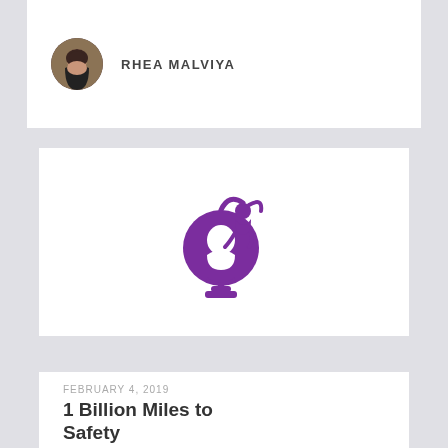[Figure (photo): Circular avatar photo of Rhea Malviya, a young woman with dark hair]
RHEA MALVIYA
[Figure (logo): Purple logo of a girl figure sitting on top of a globe with a stand, representing a girls education or safety organization]
FEBRUARY 4, 2019
1 Billion Miles to Safety
[Figure (photo): Circular avatar photo of Cynthia Sularz, a woman with long dark hair]
CYNTHIA SULARZ